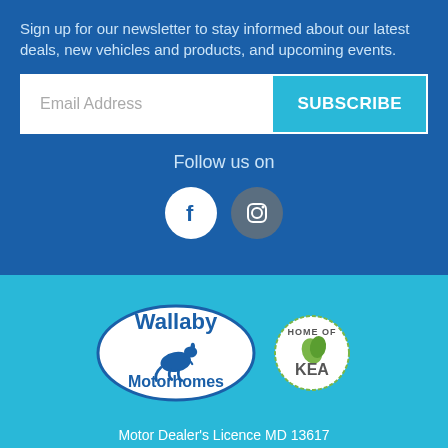Sign up for our newsletter to stay informed about our latest deals, new vehicles and products, and upcoming events.
Email Address
SUBSCRIBE
Follow us on
[Figure (logo): Facebook social media icon - white circle with 'f' letter]
[Figure (logo): Instagram social media icon - grey circle with camera icon]
[Figure (logo): Wallaby Motorhomes oval logo with wallaby illustration]
[Figure (logo): KEA Home of KEA circular badge logo with green leaf]
Motor Dealer's Licence MD 13617
ABOUT US